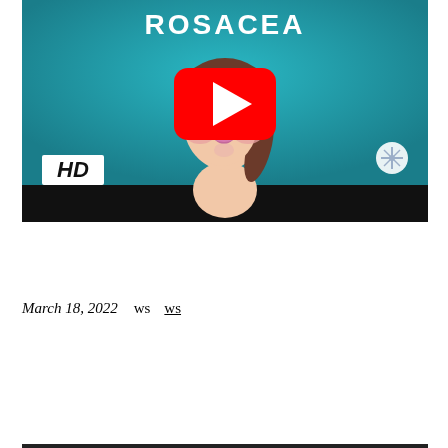[Figure (screenshot): YouTube video thumbnail showing an animated illustration of a woman's face with rosacea (red blotches on cheeks), with a YouTube play button overlay in the center. The word 'ROSACEA' appears at the top in white bold text on a teal/blue background. An 'HD' badge is visible in the lower left, and a snowflake/flower logo is in the lower right. The bottom portion of the thumbnail has a black bar.]
March 18, 2022    ws    ws